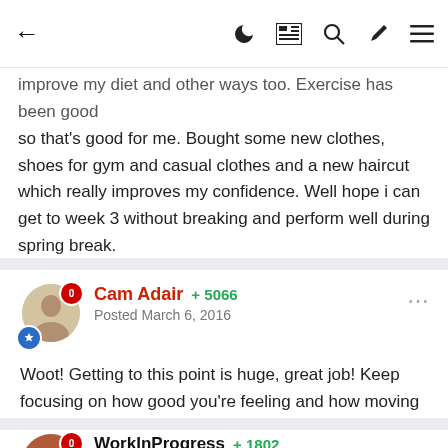← [navbar icons]
improve my diet and other ways too. Exercise has been good so that's good for me. Bought some new clothes, shoes for gym and casual clothes and a new haircut which really improves my confidence. Well hope i can get to week 3 without breaking and perform well during spring break.
Cam Adair  +5066  Posted March 6, 2016
Woot! Getting to this point is huge, great job! Keep focusing on how good you're feeling and how moving on from games and nofap has helped contribute to that. 🙂
WorkInProgress  +1802  Posted March 6, 2016
Hey wow you actually dooing ALOT. Be proud of the things you